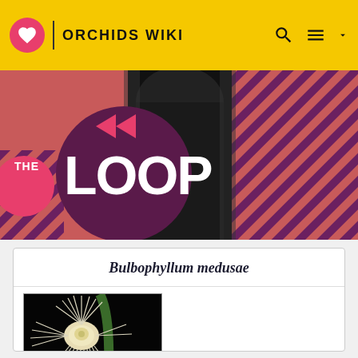ORCHIDS WIKI
[Figure (photo): The Loop banner image showing stylized graphic with pink/salmon striped background, dark hooded figure, 'THE LOOP' text in large white letters on a dark purple circle]
Bulbophyllum medusae
[Figure (photo): Close-up photo of Bulbophyllum medusae orchid flower against black background, showing white elongated thread-like sepals radiating outward like medusa hair, with a central pale yellow flower cluster]